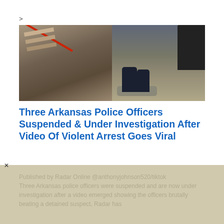>
[Figure (photo): Two police officers restraining a suspect on the ground near a dark vehicle]
Three Arkansas Police Officers Suspended & Under Investigation After Video Of Violent Arrest Goes Viral
Published by Radar Online @anthonyjohnson520/tiktok Three Arkansas police officers were suspended and are now under investigation after a video emerged showing the officers brutally beating a detained suspect, Radar has